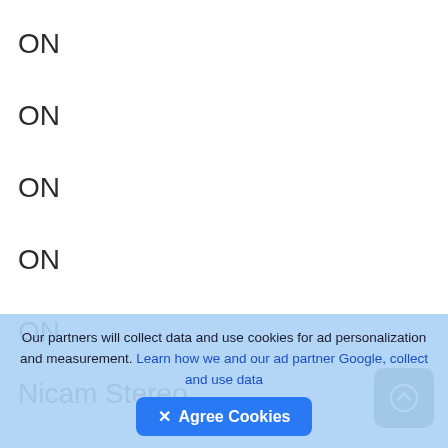ON
ON
ON
ON
ON
Nicam Stereo
OFF
Our partners will collect data and use cookies for ad personalization and measurement. Learn how we and our ad partner Google, collect and use data
✕ Agree Cookies